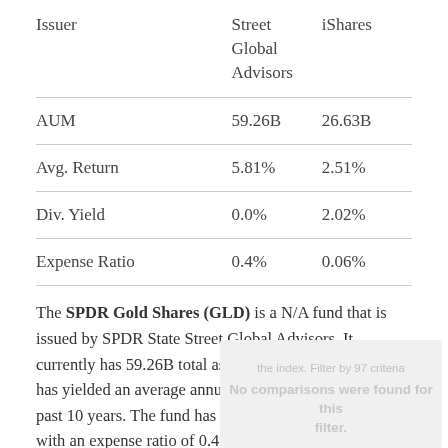|  | Street Global Advisors | iShares |
| --- | --- | --- |
| Issuer | Street Global Advisors | iShares |
| AUM | 59.26B | 26.63B |
| Avg. Return | 5.81% | 2.51% |
| Div. Yield | 0.0% | 2.02% |
| Expense Ratio | 0.4% | 0.06% |
The SPDR Gold Shares (GLD) is a N/A fund that is issued by SPDR State Street Global Advisors. It currently has 59.26B total assets under management and has yielded an average annual return of 5.81% over the past 10 years. The fund has a dividend yield of 0.0% with an expense ratio of 0.4%.